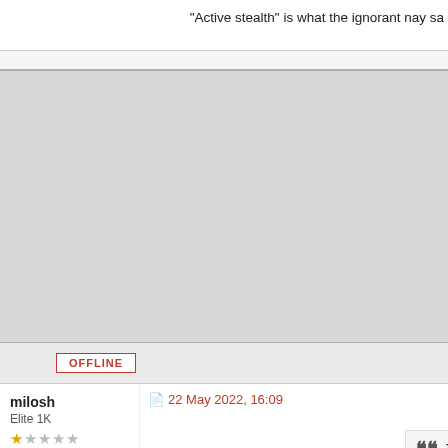“Active stealth” is what the ignorant nay sa
[Figure (other): Large gray placeholder/advertisement block]
OFFLINE
milosh
Elite 1K
Posts: 1804
Joined: 27 Feb 2008, 23:40
22 May 2022, 16:09
zhangmdev wrote:
Saw the T-80 video above? The